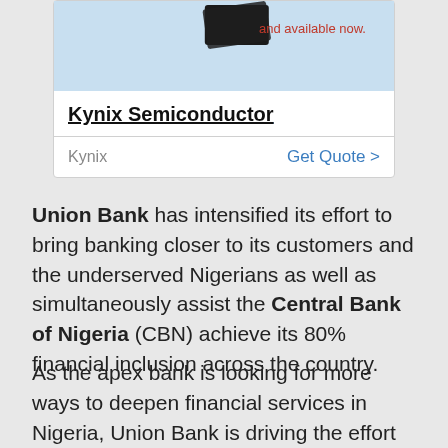[Figure (advertisement): Kynix Semiconductor advertisement banner with chip image and 'and available now.' tagline in red]
Kynix Semiconductor
Kynix    Get Quote >
Union Bank has intensified its effort to bring banking closer to its customers and the underserved Nigerians as well as simultaneously assist the Central Bank of Nigeria (CBN) achieve its 80% financial inclusion across the country.
As the apex bank is looking for more ways to deepen financial services in Nigeria, Union Bank is driving the effort with its USSD codes, UnionMobile and UnionOnline platforms that have transformed banking into a 24-hour round...